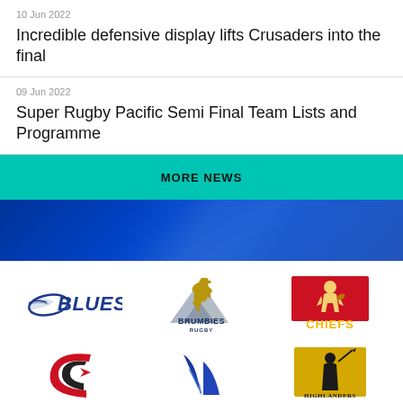10 Jun 2022
Incredible defensive display lifts Crusaders into the final
09 Jun 2022
Super Rugby Pacific Semi Final Team Lists and Programme
MORE NEWS
[Figure (logo): Blues rugby team logo]
[Figure (logo): Brumbies rugby team logo]
[Figure (logo): Chiefs rugby team logo]
[Figure (logo): Crusaders rugby team logo (partial)]
[Figure (logo): Drua/Fijian Drua rugby team logo (partial)]
[Figure (logo): Highlanders rugby team logo (partial)]